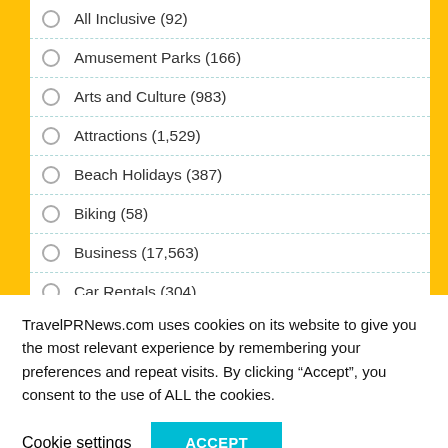All Inclusive (92)
Amusement Parks (166)
Arts and Culture (983)
Attractions (1,529)
Beach Holidays (387)
Biking (58)
Business (17,563)
Car Rentals (304)
Corporate Travel (352)
TravelPRNews.com uses cookies on its website to give you the most relevant experience by remembering your preferences and repeat visits. By clicking “Accept”, you consent to the use of ALL the cookies.
Cookie settings
ACCEPT